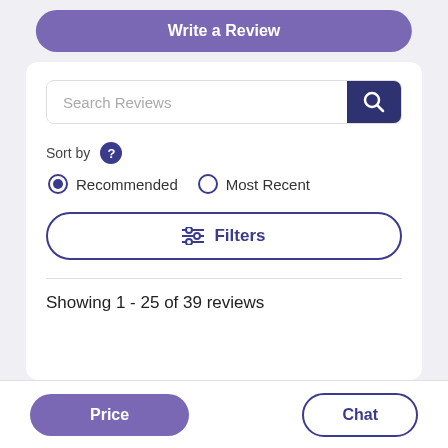Write a Review
Search Reviews
Sort by
Recommended   Most Recent
Filters
Showing 1 - 25 of 39 reviews
Price
Chat